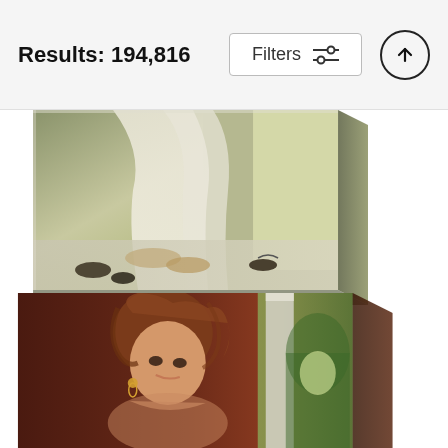Results: 194,816
[Figure (photo): Top canvas print artwork showing feet near billowing white curtains with birds on a tiled floor, displayed as a canvas print with perspective side edge]
Lesbia Canvas Print
John Reinhard Weguelin
$65 (strikethrough) $52
[Figure (photo): Bottom canvas print artwork showing a young woman with auburn hair looking down, with a classical column and garden archway in the background, displayed as a canvas print]